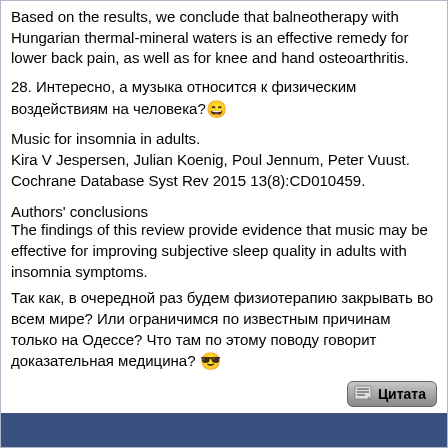Based on the results, we conclude that balneotherapy with Hungarian thermal-mineral waters is an effective remedy for lower back pain, as well as for knee and hand osteoarthritis.
28. Интересно, а музыка относится к физическим воздействиям на человека? 😄
Music for insomnia in adults.
Kira V Jespersen, Julian Koenig, Poul Jennum, Peter Vuust.
Cochrane Database Syst Rev 2015 13(8):CD010459.
Authors' conclusions
The findings of this review provide evidence that music may be effective for improving subjective sleep quality in adults with insomnia symptoms.
Так как, в очередной раз будем физиотерапию закрывать во всем мире? Или ограничимся по известным причинам только на Одессе? Что там по этому поводу говорит доказательная медицина? 😎
[Figure (other): Quote button icon with Russian text 'Цитата']